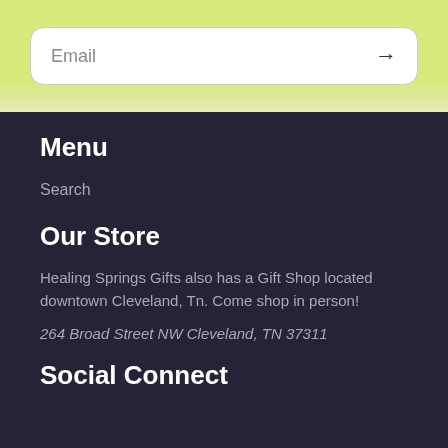[Figure (other): Email input field with rounded border and arrow submit button on a yellow-green gradient background]
Menu
Search
Our Store
Healing Springs Gifts also has a Gift Shop located downtown Cleveland, Tn. Come shop in person!
264 Broad Street NW Cleveland, TN 37311
Social Connect